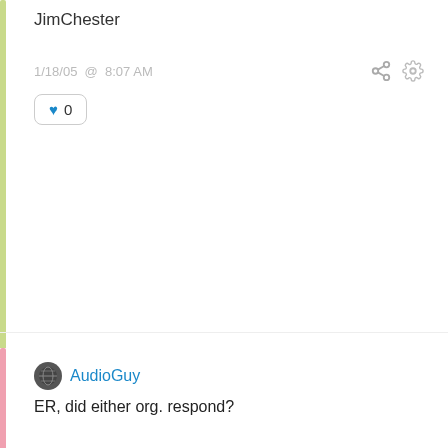JimChester
1/18/05 @ 8:07 AM
0
AudioGuy
ER, did either org. respond?
1/25/05 @ 3:56 PM
0
EbonyRose
LOL … nope, not yet, AG!